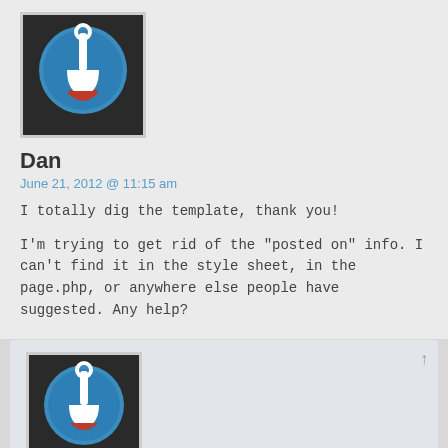[Figure (illustration): Avatar image: circular blue icon with white shovel on dark background]
Dan
June 21, 2012 @ 11:15 am
I totally dig the template, thank you!
I’m trying to get rid of the “posted on” info. I can’t find it in the style sheet, in the page.php, or anywhere else people have suggested. Any help?
[Figure (illustration): Avatar image: circular blue icon with white shovel on dark background]
Neal
July 15, 2012 @ 4:56 pm